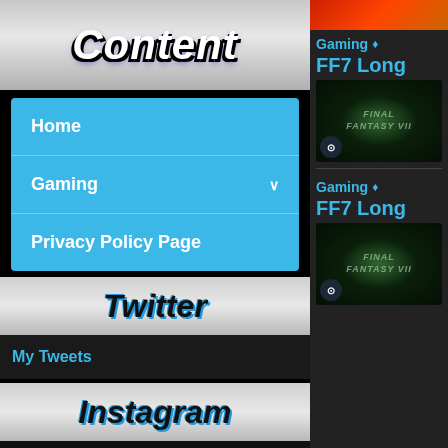Content
Home
Gaming
Privacy Policy Page
Twitter
My Tweets
Instagram
Neueste Kommentare
Gaming 💎 FF7 Long
[Figure (screenshot): Final Fantasy VII game thumbnail with Steam badge]
Gaming 💎 FF7 Long
[Figure (screenshot): Final Fantasy VII game thumbnail with Steam badge]